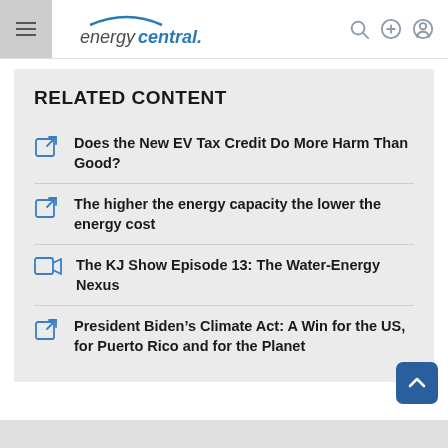energycentral.
RELATED CONTENT
Does the New EV Tax Credit Do More Harm Than Good?
The higher the energy capacity the lower the energy cost
The KJ Show Episode 13: The Water-Energy Nexus
President Biden’s Climate Act: A Win for the US, for Puerto Rico and for the Planet